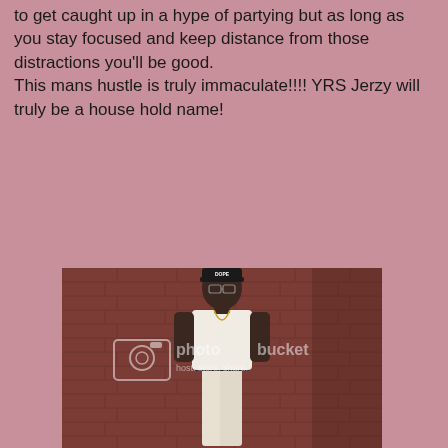to get caught up in a hype of partying but as long as you stay focused and keep distance from those distractions you'll be good.
This mans hustle is truly immaculate!!!! YRS Jerzy will truly be a house hold name!
[Figure (photo): A young man wearing a black cap that reads 'DOPE', glasses, a white t-shirt, white pants, black belt, and a chain necklace, standing in front of a brick wall. Photobucket watermark visible.]